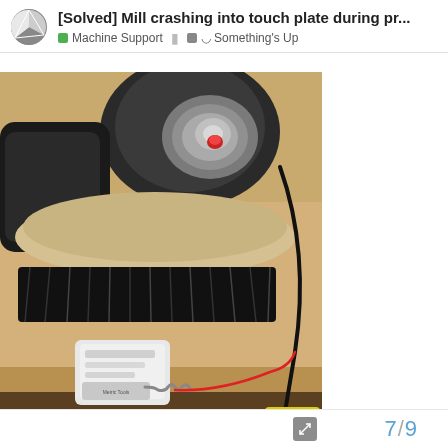[Solved] Mill crashing into touch plate during pr...
Machine Support | Something's Up
[Figure (photo): A CNC mill router with a black dust shoe brush attachment, viewed from above. A small white electronic touch plate/probe device with a coiled cable connector sits on a wooden MDF spoilboard surface below. Red and black wires are visible. Tools and other items are visible in the background below the table.]
7 / 9